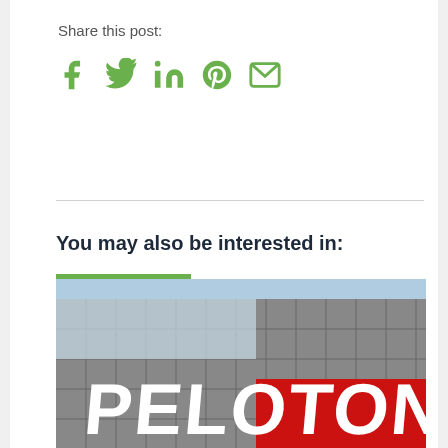Share this post:
[Figure (infographic): Social media sharing icons: Facebook, Twitter, LinkedIn, Pinterest, Email — all in green]
You may also be interested in:
[Figure (photo): Photo of a building with large PELOTON signage in white letters on a red background panel, modern glass and steel facade]